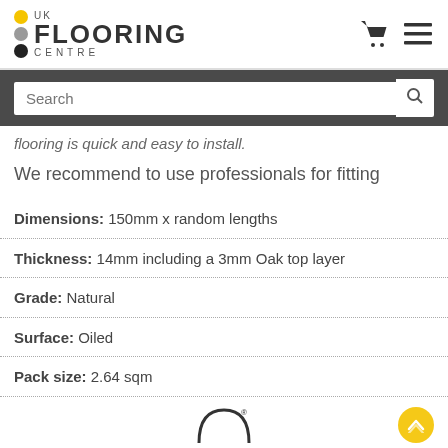UK FLOORING CENTRE
flooring is quick and easy to install.
We recommend to use professionals for fitting
Dimensions: 150mm x random lengths
Thickness: 14mm including a 3mm Oak top layer
Grade: Natural
Surface: Oiled
Pack size: 2.64 sqm
[Figure (logo): Arch/archway logo mark at bottom center of page]